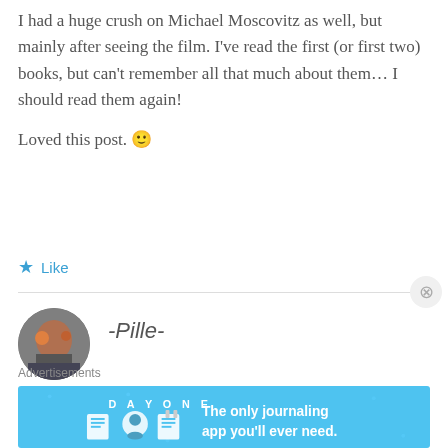I had a huge crush on Michael Moscovitz as well, but mainly after seeing the film. I've read the first (or first two) books, but can't remember all that much about them… I should read them again!
Loved this post. 🙂
★ Like
-Pille-
FEBRUARY 14, 2014 AT 5:50 PM
Advertisements
[Figure (screenshot): DAY ONE app advertisement banner: blue background with DAY ONE logo text, three icon illustrations, and text 'The only journaling app you'll ever need.']